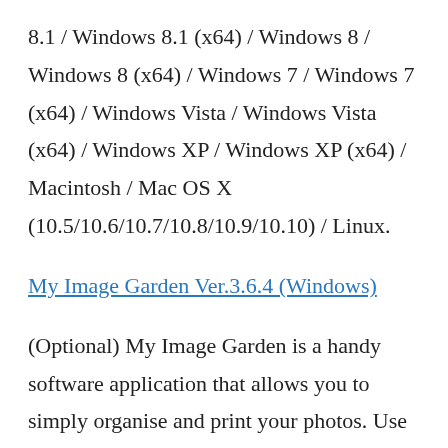8.1 / Windows 8.1 (x64) / Windows 8 / Windows 8 (x64) / Windows 7 / Windows 7 (x64) / Windows Vista / Windows Vista (x64) / Windows XP / Windows XP (x64) / Macintosh / Mac OS X (10.5/10.6/10.7/10.8/10.9/10.10) / Linux.
My Image Garden Ver.3.6.4 (Windows)
(Optional) My Image Garden is a handy software application that allows you to simply organise and print your photos. Use your